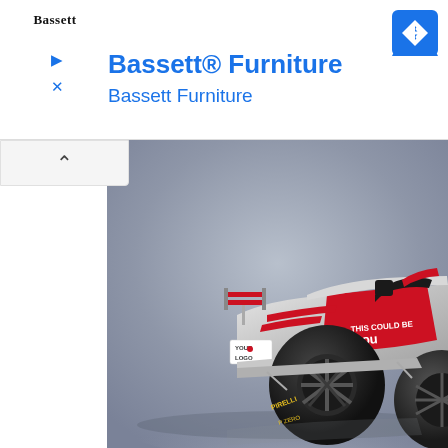[Figure (screenshot): Advertisement banner for Bassett Furniture with logo, title text 'Bassett® Furniture' and subtitle 'Bassett Furniture', navigation icon on right, and ad controls (play and close buttons) on left.]
[Figure (photo): A Formula 1 racing car rendered in white, red, and black livery. The car features Pirelli P Zero tires, rear wing, and sponsorship text reading 'YOUR LOGO' on the rear wing and 'THIS COULD BE YOU' on the sidepod. The car is photographed from a rear three-quarter angle against a grey gradient background.]